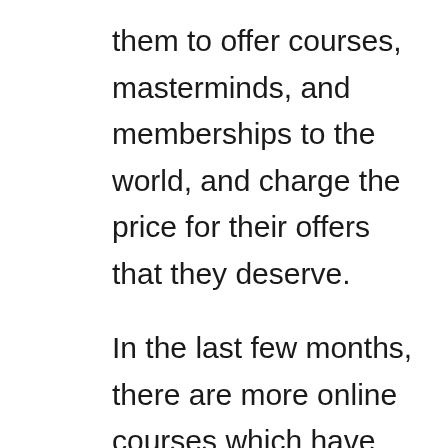them to offer courses, masterminds, and memberships to the world, and charge the price for their offers that they deserve.
In the last few months, there are more online courses which have come up than ever. The knowledge industry is aiming to become a billion dollar a day industry. You can increase the sales of your online course, membership, or mastermind up learning the sales secrets from 100+ speakers.